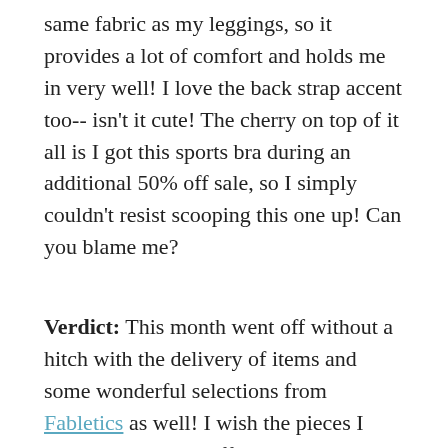same fabric as my leggings, so it provides a lot of comfort and holds me in very well! I love the back strap accent too-- isn't it cute! The cherry on top of it all is I got this sports bra during an additional 50% off sale, so I simply couldn't resist scooping this one up! Can you blame me?
Verdict: This month went off without a hitch with the delivery of items and some wonderful selections from Fabletics as well! I wish the pieces I received had been offered as a three-piece rather than a two-piece and add-on bra. Regardless, I am still extremely satisfied with